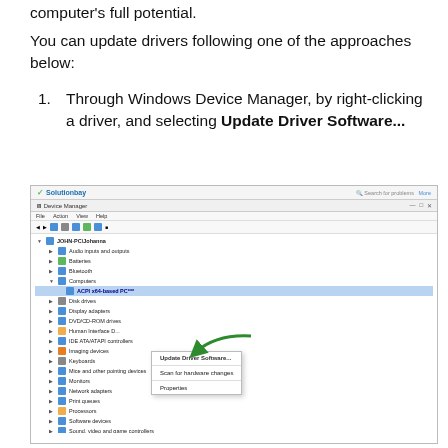computer's full potential.
You can update drivers following one of the approaches below:
Through Windows Device Manager, by right-clicking a driver, and selecting Update Driver Software...
[Figure (screenshot): Screenshot of Windows Device Manager showing a right-click context menu with 'Update Driver Software...' option highlighted, with a green arrow pointing to the context menu. The screenshot has a Solutionbay watermark at the top.]